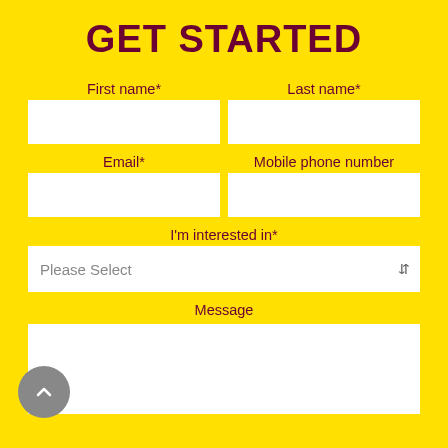GET STARTED
First name*
Last name*
Email*
Mobile phone number
I'm interested in*
Please Select
Message